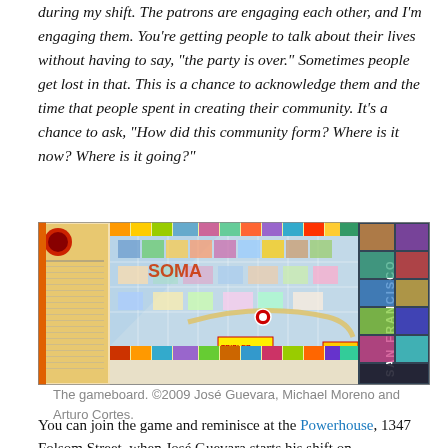during my shift. The patrons are engaging each other, and I'm engaging them. You're getting people to talk about their lives without having to say, "the party is over." Sometimes people get lost in that. This is a chance to acknowledge them and the time that people spent in creating their community. It's a chance to ask, "How did this community form? Where is it now? Where is it going?"
[Figure (photo): A colorful board game called SOMA (San Francisco themed) showing a city map game board with streets, properties, and game spaces similar to Monopoly. The board is oriented horizontally with 'SAN FRANCISCO' text on the right side. Various colored sections and a 'START' marker are visible.]
The gameboard. ©2009 José Guevara, Michael Moreno and Arturo Cortes.
You can join the game and reminisce at the Powerhouse, 1347 Folsom Street, when José Guevara starts his shift on